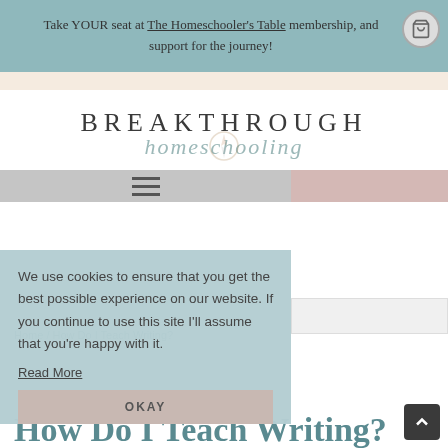Take YOUR seat at The Homeschooler's Table membership, and support for the journey!
[Figure (logo): Breakthrough Homeschooling logo with stylized compass rose icon]
[Figure (infographic): Navigation hamburger menu bar with grey left panel and dusty rose right panel]
We use cookies to ensure that you get the best possible experience on our website. If you continue to use this site I'll assume that you're happy with it. Read More
OKAY
Home / How Do I Teach Writing?
How Do I Teach Writing?